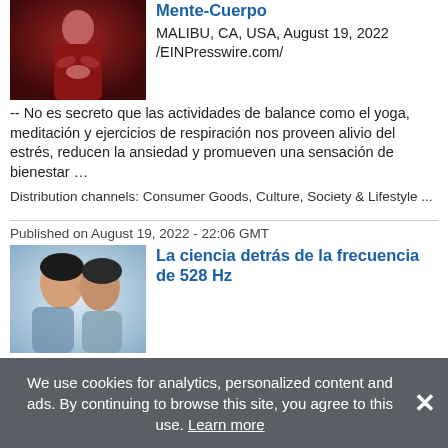[Figure (photo): Person in red/burgundy clothing, upper body, appears to be meditating or doing a mind-body activity]
Mente-Cuerpo
MALIBU, CA, USA, August 19, 2022 /EINPresswire.com/ -- No es secreto que las actividades de balance como el yoga, meditación y ejercicios de respiración nos proveen alivio del estrés, reducen la ansiedad y promueven una sensación de bienestar …
Distribution channels: Consumer Goods, Culture, Society & Lifestyle ...
Published on August 19, 2022 - 22:06 GMT
[Figure (photo): Two people close together, touching foreheads, soft blue/grey tones]
La ciencia detrás de la frecuencia de 528 Hz
MALIBU, CA, USA, August 19, 2022 / EINPresswire.com/ -- Lovetuner, nuestra revolucionaria herramienta de conciencia plena, te alinea con la frecuencia de 528 Hz (también conocida como Frecuencia del amor o Frecuencia milagrosa), una antigua …
Distribution channels: Consumer Goods, Culture, Society & Lifestyle ...
We use cookies for analytics, personalized content and ads. By continuing to browse this site, you agree to this use. Learn more